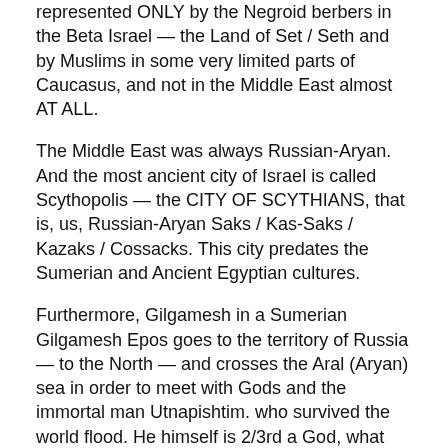represented ONLY by the Negroid berbers in the Beta Israel — the Land of Set / Seth and by Muslims in some very limited parts of Caucasus, and not in the Middle East almost AT ALL.
The Middle East was always Russian-Aryan. And the most ancient city of Israel is called Scythopolis — the CITY OF SCYTHIANS, that is, us, Russian-Aryan Saks / Kas-Saks / Kazaks / Cossacks. This city predates the Sumerian and Ancient Egyptian cultures.
Furthermore, Gilgamesh in a Sumerian Gilgamesh Epos goes to the territory of Russia — to the North — and crosses the Aral (Aryan) sea in order to meet with Gods and the immortal man Utnapishtim. who survived the world flood. He himself is 2/3rd a God, what means that he himself is 2/3rd Russian.